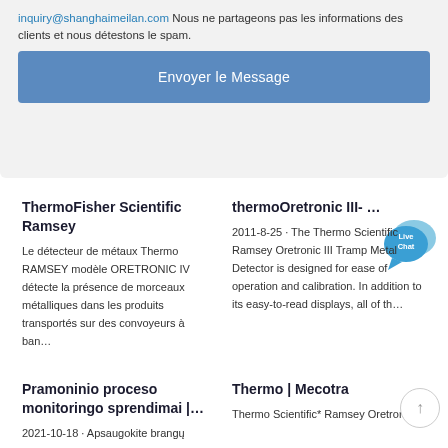inquiry@shanghaimeilan.com Nous ne partageons pas les informations des clients et nous détestons le spam.
Envoyer le Message
ThermoFisher Scientific Ramsey
Le détecteur de métaux Thermo RAMSEY modèle ORETRONIC IV détecte la présence de morceaux métalliques dans les produits transportés sur des convoyeurs à ban…
thermoOretronic III- …
2011-8-25 · The Thermo Scientific Ramsey Oretronic III Tramp Metal Detector is designed for ease of operation and calibration. In addition to its easy-to-read displays, all of th…
Pramoninio proceso monitoringo sprendimai |…
2021-10-18 · Apsaugokite brangų
Thermo | Mecotra
Thermo Scientific* Ramsey Oretronic